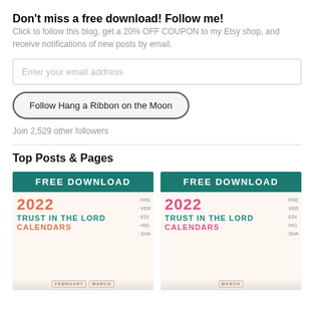Don't miss a free download! Follow me!
Click to follow this blog, get a 20% OFF COUPON to my Etsy shop, and receive notifications of new posts by email.
Enter your email address
Follow Hang a Ribbon on the Moon
Join 2,529 other followers
Top Posts & Pages
[Figure (screenshot): FREE DOWNLOAD banner with 2022 Trust in the Lord Calendars graphic (orange/teal text), bullet list partially visible: FRE, VER, EDI, HIG, SHA]
[Figure (screenshot): FREE DOWNLOAD banner with 2022 Trust in the Lord Calendars graphic (pink/teal text), bullet list partially visible: FRE, VER, EDI, HIG, SHA]